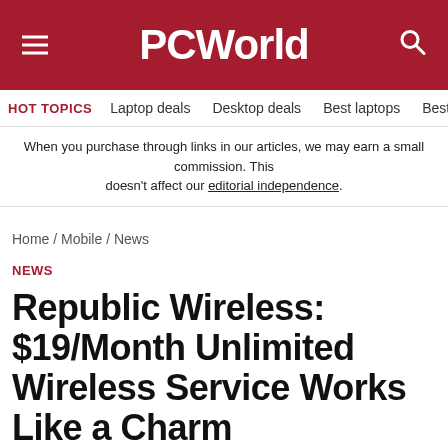PCWorld
HOT TOPICS  Laptop deals  Desktop deals  Best laptops  Best ch
When you purchase through links in our articles, we may earn a small commission. This doesn't affect our editorial independence.
Home / Mobile / News
NEWS
Republic Wireless: $19/Month Unlimited Wireless Service Works Like a Charm